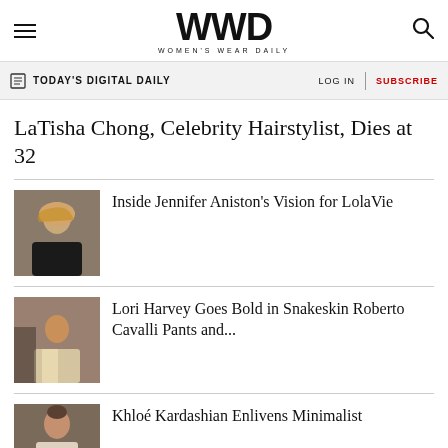WWD WOMEN'S WEAR DAILY
TODAY'S DIGITAL DAILY | LOG IN | SUBSCRIBE
LaTisha Chong, Celebrity Hairstylist, Dies at 32
[Figure (photo): Woman with blonde hair posing]
Inside Jennifer Aniston's Vision for LolaVie
[Figure (photo): Woman in beige outfit]
Lori Harvey Goes Bold in Snakeskin Roberto Cavalli Pants and...
[Figure (photo): Person with updo hairstyle]
Khloé Kardashian Enlivens Minimalist